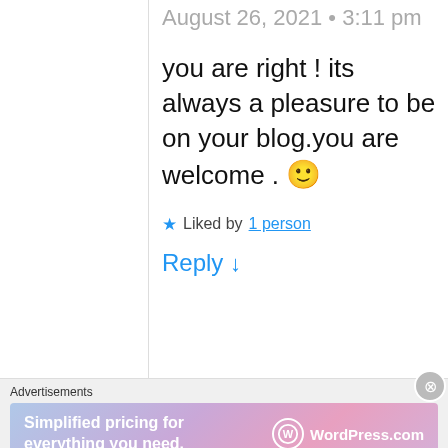August 26, 2021 • 3:11 pm
you are right ! its always a pleasure to be on your blog.you are welcome . 🙂
★ Liked by 1 person
Reply ↓
Advertisements
Simplified pricing for everything you need. WordPress.com